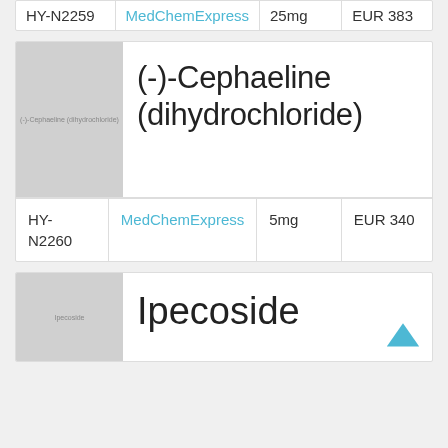| ID | Vendor | Qty | Price |
| --- | --- | --- | --- |
| HY-N2259 | MedChemExpress | 25mg | EUR 383 |
[Figure (illustration): Chemical structure placeholder image for (-)-Cephaeline (dihydrochloride)]
(-)-Cephaeline (dihydrochloride)
| ID | Vendor | Qty | Price |
| --- | --- | --- | --- |
| HY-N2260 | MedChemExpress | 5mg | EUR 340 |
[Figure (illustration): Chemical structure placeholder image for Ipecoside]
Ipecoside